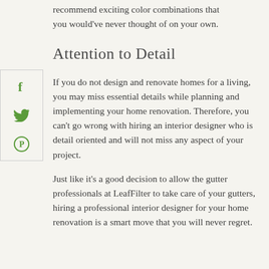recommend exciting color combinations that you would've never thought of on your own.
Attention to Detail
[Figure (infographic): Social sharing sidebar with Facebook, Twitter, and Pinterest icons in green]
If you do not design and renovate homes for a living, you may miss essential details while planning and implementing your home renovation. Therefore, you can't go wrong with hiring an interior designer who is detail oriented and will not miss any aspect of your project.
Just like it's a good decision to allow the gutter professionals at LeafFilter to take care of your gutters, hiring a professional interior designer for your home renovation is a smart move that you will never regret.